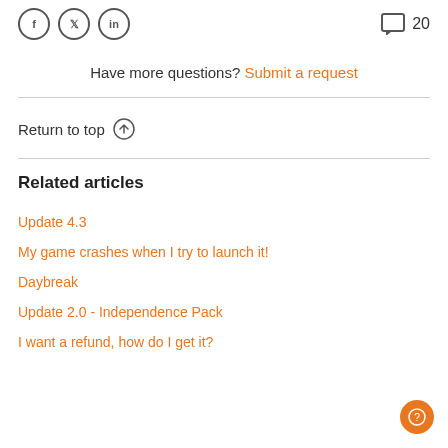Social icons (Facebook, Twitter, LinkedIn) and comment count: 20
Have more questions? Submit a request
Return to top ↑
Related articles
Update 4.3
My game crashes when I try to launch it!
Daybreak
Update 2.0 - Independence Pack
I want a refund, how do I get it?